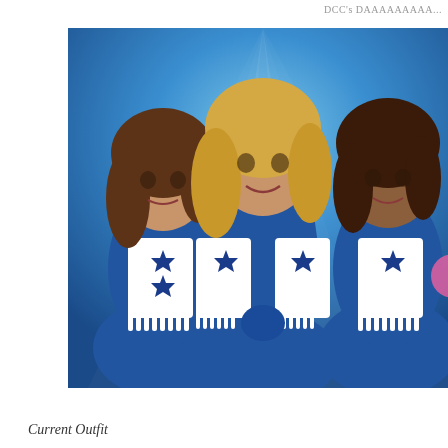DCC's DAAAAAAAAA...
[Figure (photo): Three Dallas Cowboys Cheerleaders in their iconic blue and white uniforms with star emblems and fringe, posing against a blue radiant background. The center cheerleader is blonde, flanked by a brunette on the left and a dark-haired cheerleader on the right.]
Current Outfit